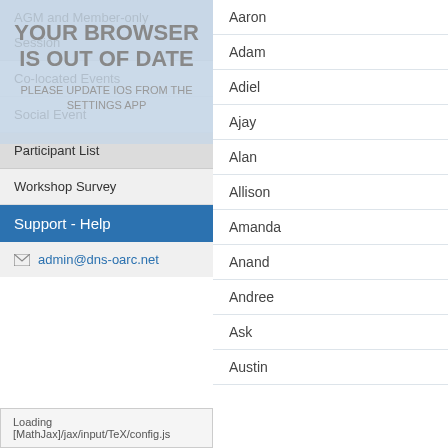AGM and Member-only Session
Co-located Events
Social Event
Participant List
Workshop Survey
Support - Help
admin@dns-oarc.net
YOUR BROWSER IS OUT OF DATE
PLEASE UPDATE IOS FROM THE SETTINGS APP
Aaron
Adam
Adiel
Ajay
Alan
Allison
Amanda
Anand
Andree
Ask
Austin
Loading [MathJax]/jax/input/TeX/config.js